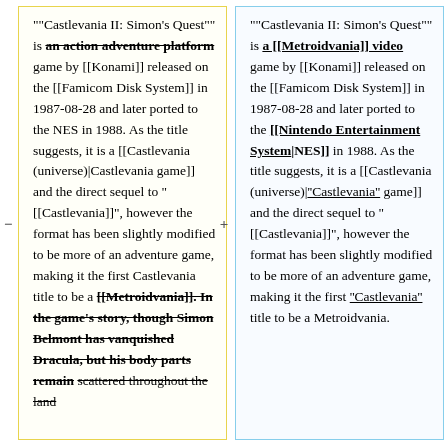""Castlevania II: Simon's Quest"" is an action adventure platform game by [[Konami]] released on the [[Famicom Disk System]] in 1987-08-28 and later ported to the NES in 1988. As the title suggests, it is a [[Castlevania (universe)|Castlevania game]] and the direct sequel to "[[Castlevania]]", however the format has been slightly modified to be more of an adventure game, making it the first Castlevania title to be a [[Metroidvania]]. In the game's story, though Simon Belmont has vanquished Dracula, but his body parts remain scattered throughout the land
""Castlevania II: Simon's Quest"" is a [[Metroidvania]] video game by [[Konami]] released on the [[Famicom Disk System]] in 1987-08-28 and later ported to the [[Nintendo Entertainment System|NES]] in 1988. As the title suggests, it is a [[Castlevania (universe)|"Castlevania" game]] and the direct sequel to "[[Castlevania]]", however the format has been slightly modified to be more of an adventure game, making it the first "Castlevania" title to be a Metroidvania.